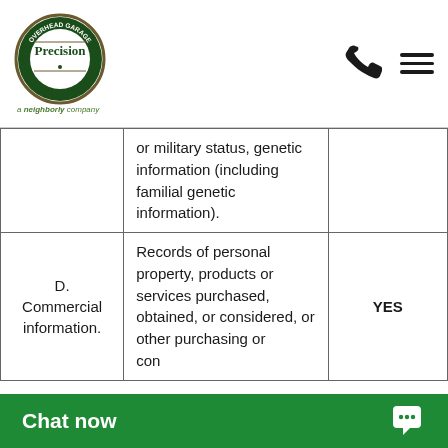Precision Door Service - a Neighborly company
| Category | Examples | Collected |
| --- | --- | --- |
|  | or military status, genetic information (including familial genetic information). |  |
| D. Commercial information. | Records of personal property, products or services purchased, obtained, or considered, or other purchasing or consuming histories or tendencies. | YES |
Chat now